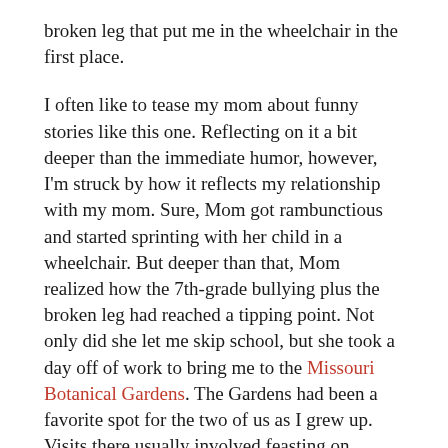broken leg that put me in the wheelchair in the first place.
I often like to tease my mom about funny stories like this one. Reflecting on it a bit deeper than the immediate humor, however, I'm struck by how it reflects my relationship with my mom. Sure, Mom got rambunctious and started sprinting with her child in a wheelchair. But deeper than that, Mom realized how the 7th-grade bullying plus the broken leg had reached a tipping point. Not only did she let me skip school, but she took a day off of work to bring me to the Missouri Botanical Gardens. The Gardens had been a favorite spot for the two of us as I grew up. Visits there usually involved feasting on poppyseed bread smothered in butter before going to feed the koi in the Japanese garden.